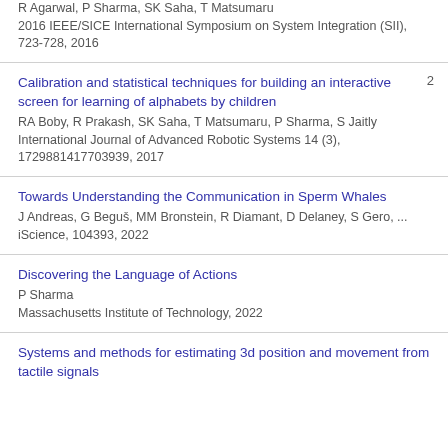R Agarwal, P Sharma, SK Saha, T Matsumaru
2016 IEEE/SICE International Symposium on System Integration (SII), 723-728, 2016
Calibration and statistical techniques for building an interactive screen for learning of alphabets by children
RA Boby, R Prakash, SK Saha, T Matsumaru, P Sharma, S Jaitly
International Journal of Advanced Robotic Systems 14 (3), 1729881417703939, 2017
[cited: 2]
Towards Understanding the Communication in Sperm Whales
J Andreas, G Beguš, MM Bronstein, R Diamant, D Delaney, S Gero, ...
iScience, 104393, 2022
Discovering the Language of Actions
P Sharma
Massachusetts Institute of Technology, 2022
Systems and methods for estimating 3d position and movement from tactile signals